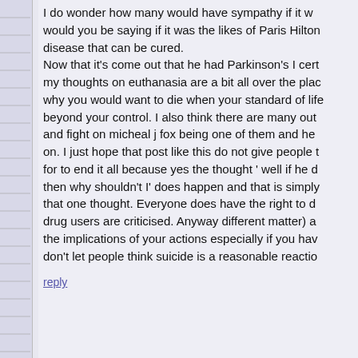I do wonder how many would have sympathy if it would you be saying if it was the likes of Paris Hilton disease that can be cured. Now that it's come out that he had Parkinson's I cert my thoughts on euthanasia are a bit all over the plac why you would want to die when your standard of life beyond your control. I also think there are many out and fight on micheal j fox being one of them and he on. I just hope that post like this do not give people t for to end it all because yes the thought ' well if he d then why shouldn't I' does happen and that is simply that one thought. Everyone does have the right to d drug users are criticised. Anyway different matter) a the implications of your actions especially if you hav don't let people think suicide is a reasonable reactio
reply
Andrea
Kara and Darnell, Do either one of you suffer from depression or any d diagnosed with BI-POLAR DISORDER…depressive On top of my illness, I have many other health issue heart attack and on his birthday and Father's Day, I